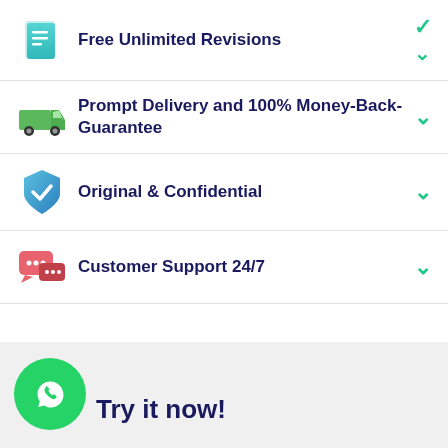Free Unlimited Revisions
Prompt Delivery and 100% Money-Back-Guarantee
Original & Confidential
Customer Support 24/7
Try it now!